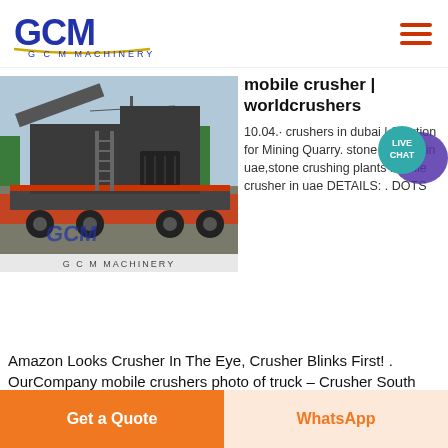[Figure (logo): GCM Machinery logo with blue stylized letters and gold underline, text 'G C M  MACHINERY' below]
[Figure (photo): Mobile crusher machine on a flatbed truck, GCM Machinery branded, on a road with trees in background]
mobile crusher | worldcrushers
10.04.· crushers in dubai | Solution for Mining Quarry. stone crusher in uae,stone crushing plants mobile crusher in uae DETAILS: . DOTS
Amazon Looks Crusher In The Eye, Crusher Blinks First! . OurCompany mobile crushers photo of truck – Crusher South Africa . Truck,Toyota DYNA Spreader Truck,Toyota
Get a Quote
WhatsApp